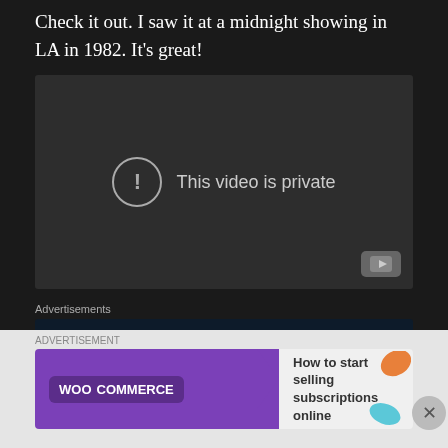Check it out. I saw it at a midnight showing in LA in 1982. It's great!
[Figure (screenshot): Embedded YouTube video player showing 'This video is private' error message with exclamation mark icon and YouTube logo in bottom right corner]
Advertisements
[Figure (screenshot): Advertisement banner: Opinions. We all have them! with WordPress and another logo]
ADVERTISEMENT
[Figure (screenshot): WooCommerce advertisement: How to start selling subscriptions online]